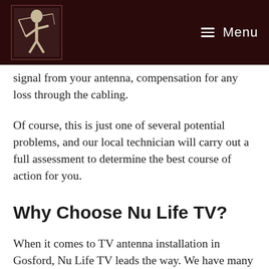Menu
signal from your antenna, compensation for any loss through the cabling.
Of course, this is just one of several potential problems, and our local technician will carry out a full assessment to determine the best course of action for you.
Why Choose Nu Life TV?
When it comes to TV antenna installation in Gosford, Nu Life TV leads the way. We have many years of experience in the industry (over four decades), and we have carried out more than 300,000 TV antenna installations in this time.